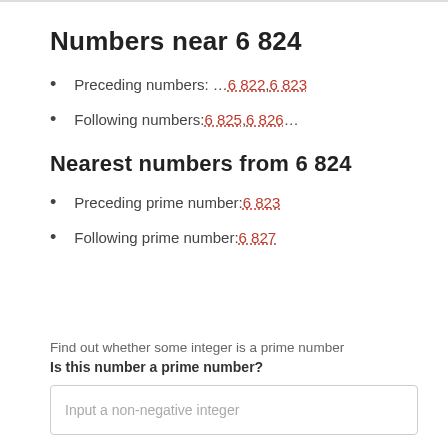Numbers near 6 824
Preceding numbers: …6 822, 6 823
Following numbers: 6 825, 6 826…
Nearest numbers from 6 824
Preceding prime number: 6 823
Following prime number: 6 827
Find out whether some integer is a prime number
Is this number a prime number?
Input a non-negative integer
FIND OUT